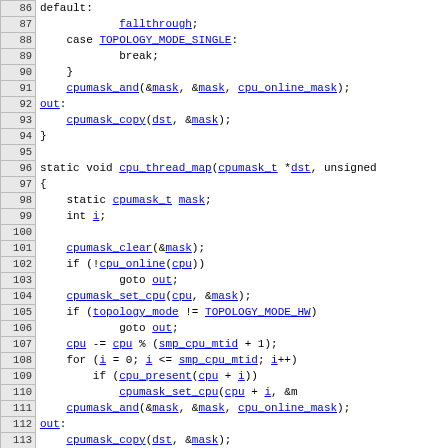[Figure (screenshot): Source code listing showing C code for CPU topology mapping functions, lines 86-116, with line numbers in left column and syntax-highlighted/hyperlinked code in right column.]